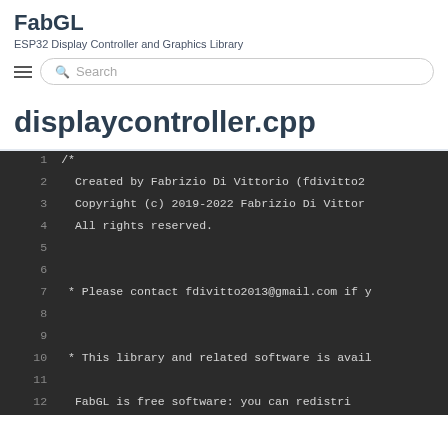FabGL
ESP32 Display Controller and Graphics Library
[Figure (screenshot): Search bar with hamburger menu icon and search placeholder text]
displaycontroller.cpp
Code listing starting from line 1 through line 12, showing C++ file header comment with author Fabrizio Di Vittorio, copyright 2019-2022, contact fdivitto2013@gmail.com, and library license information.